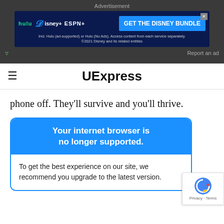[Figure (screenshot): Advertisement banner for Disney Bundle showing Hulu, Disney+, ESPN+ logos with 'GET THE DISNEY BUNDLE' call to action button on dark navy background]
UExpress
phone off. They'll survive and you'll thrive.
Your internet browser is no longer supported. To get the best experience on our site, we recommend you upgrade to the latest version.